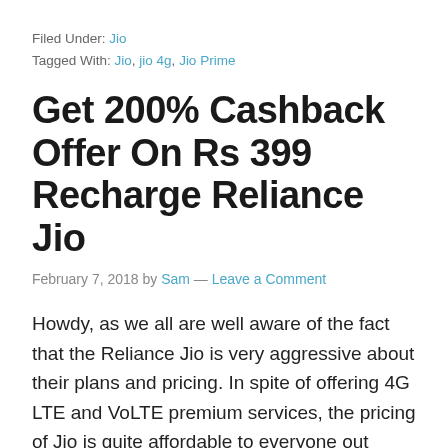Filed Under: Jio
Tagged With: Jio, jio 4g, Jio Prime
Get 200% Cashback Offer On Rs 399 Recharge Reliance Jio
February 7, 2018 by Sam — Leave a Comment
Howdy, as we all are well aware of the fact that the Reliance Jio is very aggressive about their plans and pricing. In spite of offering 4G LTE and VoLTE premium services, the pricing of Jio is quite affordable to everyone out there. As of now Get 200% Cashback Offer On Rs 399 Recharge Reliance [...]